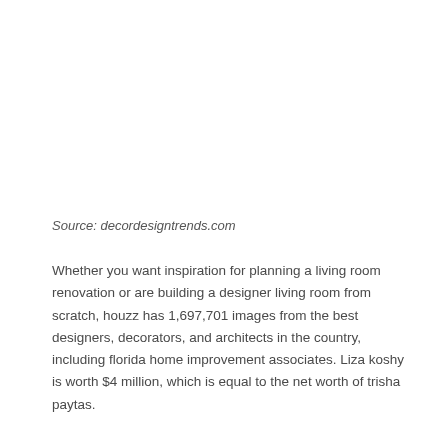Source: decordesigntrends.com
Whether you want inspiration for planning a living room renovation or are building a designer living room from scratch, houzz has 1,697,701 images from the best designers, decorators, and architects in the country, including florida home improvement associates. Liza koshy is worth $4 million, which is equal to the net worth of trisha paytas.